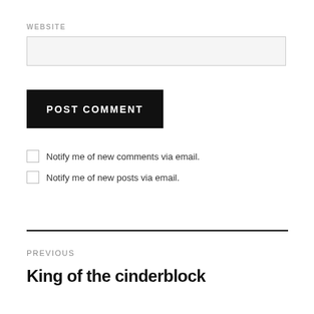WEBSITE
POST COMMENT
Notify me of new comments via email.
Notify me of new posts via email.
PREVIOUS
King of the cinderblock